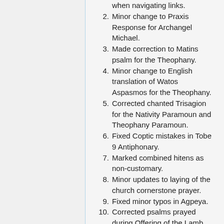when navigating links.
2. Minor change to Praxis Response for Archangel Michael.
3. Made correction to Matins psalm for the Theophany.
4. Minor change to English translation of Watos Aspasmos for the Theophany.
5. Corrected chanted Trisagion for the Nativity Paramoun and Theophany Paramoun.
6. Fixed Coptic mistakes in Tobe 9 Antiphonary.
7. Marked combined hitens as non-customary.
8. Minor updates to laying of the church cornerstone prayer.
9. Fixed minor typos in Agpeya.
10. Corrected psalms prayed during Offering of the Lamb when